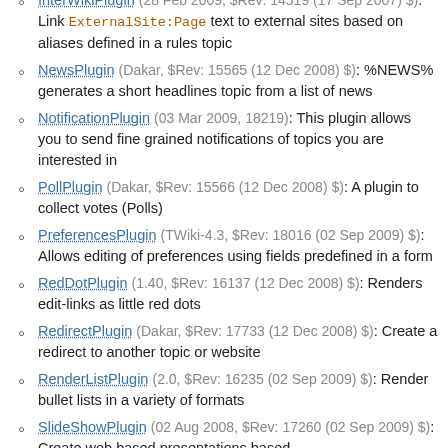InterWikiPlugin (28 Feb 2009, $Rev: 14519 (17 Sep 2007) $): Link ExternalSite:Page text to external sites based on aliases defined in a rules topic
NewsPlugin (Dakar, $Rev: 15565 (12 Dec 2008) $): %NEWS% generates a short headlines topic from a list of news
NotificationPlugin (03 Mar 2009, 18219): This plugin allows you to send fine grained notifications of topics you are interested in
PollPlugin (Dakar, $Rev: 15566 (12 Dec 2008) $): A plugin to collect votes (Polls)
PreferencesPlugin (TWiki-4.3, $Rev: 18016 (02 Sep 2009) $): Allows editing of preferences using fields predefined in a form
RedDotPlugin (1.40, $Rev: 16137 (12 Dec 2008) $): Renders edit-links as little red dots
RedirectPlugin (Dakar, $Rev: 17733 (12 Dec 2008) $): Create a redirect to another topic or website
RenderListPlugin (2.0, $Rev: 16235 (02 Sep 2009) $): Render bullet lists in a variety of formats
SlideShowPlugin (02 Aug 2008, $Rev: 17260 (02 Sep 2009) $): Create web based presentations based ...